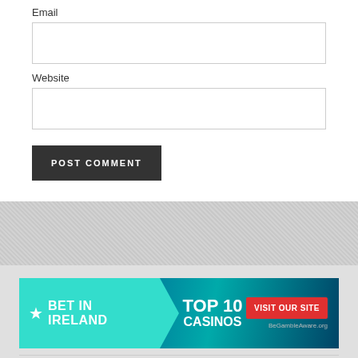Email
Website
POST COMMENT
[Figure (infographic): BetInIreland banner ad: teal background with 'BET IN IRELAND' on left in speech bubble shape, 'TOP 10 CASINOS' in center, 'VISIT OUR SITE' red button on right, BeGambleAware.org text]
[Figure (infographic): Casimoose banner ad: dark navy background with moose icon and 'casimoose.' logo on left, 'TOP 10 CASINOS' in center, purple/blue 'VISIT OUR SITE' button on right]